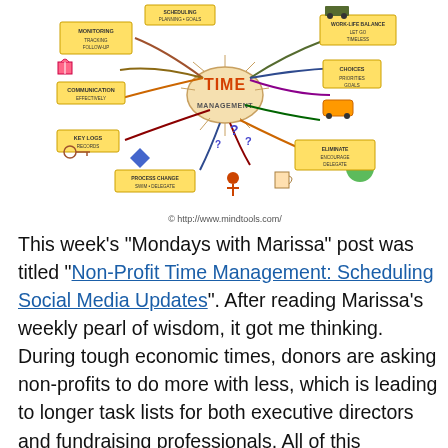[Figure (illustration): A colorful mind map about Time Management with various branches showing topics like monitoring, communication, key logs, choices, scheduling, and other time management concepts. Attributed to http://www.mindtools.com/]
© http://www.mindtools.com/
This week's "Mondays with Marissa" post was titled "Non-Profit Time Management: Scheduling Social Media Updates". After reading Marissa's weekly pearl of wisdom, it got me thinking. During tough economic times, donors are asking non-profits to do more with less, which is leading to longer task lists for both executive directors and fundraising professionals. All of this contributes to a lot of stress in the workplace. In honor of Marissa's awesome blog post, I am dedicating this week's posts to the idea of looking more carefully